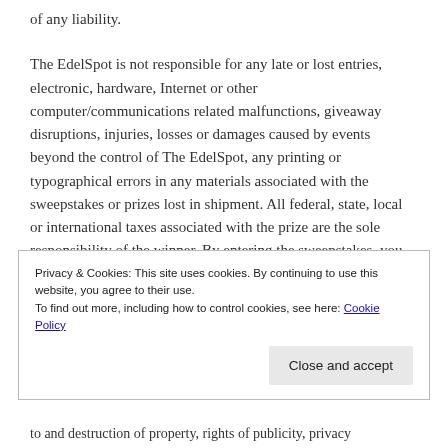of any liability.
The EdelSpot is not responsible for any late or lost entries, electronic, hardware, Internet or other computer/communications related malfunctions, giveaway disruptions, injuries, losses or damages caused by events beyond the control of The EdelSpot, any printing or typographical errors in any materials associated with the sweepstakes or prizes lost in shipment. All federal, state, local or international taxes associated with the prize are the sole responsibility of the winner. By entering the sweepstakes, you release The EdelSpot from any liability whatsoever, and waive any and all causes of action, related
Privacy & Cookies: This site uses cookies. By continuing to use this website, you agree to their use.
To find out more, including how to control cookies, see here: Cookie Policy
to and destruction of property, rights of publicity, privacy